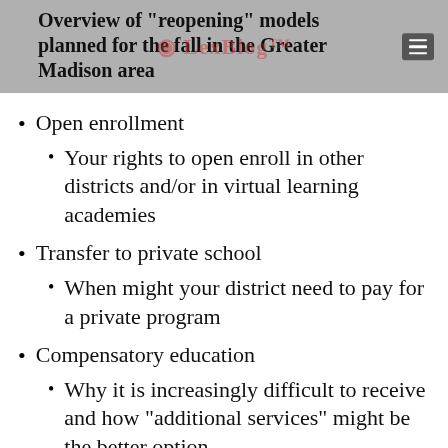Overview of 'reopening' models planned for the fall in the Greater Madison area
Open enrollment
Your rights to open enroll in other districts and/or in virtual learning academies
Transfer to private school
When might your district need to pay for a private program
Compensatory education
Why it is increasingly difficult to receive and how “additional services” might be the better option